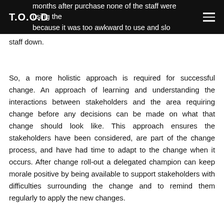T.O.O.D
months after purchase none of the staff were using the because it was too awkward to use and slow staff down.
So, a more holistic approach is required for successful change. An approach of learning and understanding the interactions between stakeholders and the area requiring change before any decisions can be made on what that change should look like. This approach ensures the stakeholders have been considered, are part of the change process, and have had time to adapt to the change when it occurs. After change roll-out a delegated champion can keep morale positive by being available to support stakeholders with difficulties surrounding the change and to remind them regularly to apply the new changes.